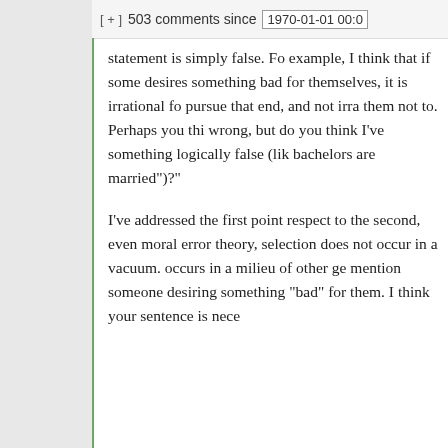[ + ]  503 comments since  1970-01-01 00:0
statement is simply false. For example, I think that if someone desires something bad for themselves, it is irrational for pursue that end, and not irrational them not to. Perhaps you think wrong, but do you think I've something logically false (like bachelors are married")?"
I've addressed the first point. With respect to the second, even on a moral error theory, selection does not occur in a vacuum. It occurs in a milieu of other ge mention someone desiring something "bad" for them. I think your sentence is nece